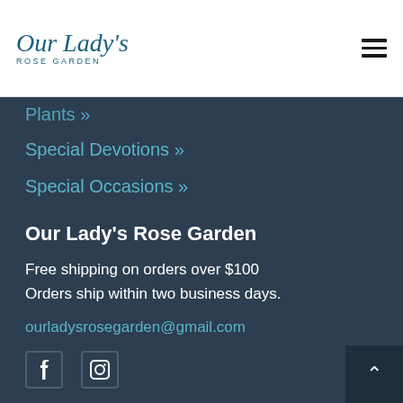Our Lady's Rose Garden
Plants »
Special Devotions »
Special Occasions »
Our Lady's Rose Garden
Free shipping on orders over $100
Orders ship within two business days.
ourladysrosegarden@gmail.com
[Figure (other): Facebook and Instagram social media icons]